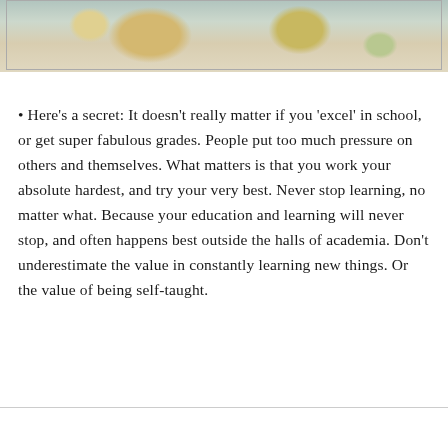[Figure (photo): Partial photo showing floral patterned fabric or bedding with muted tones of green, blue, and beige]
• Here’s a secret: It doesn’t really matter if you ‘excel’ in school, or get super fabulous grades. People put too much pressure on others and themselves. What matters is that you work your absolute hardest, and try your very best. Never stop learning, no matter what. Because your education and learning will never stop, and often happens best outside the halls of academia. Don’t underestimate the value in constantly learning new things. Or the value of being self-taught.